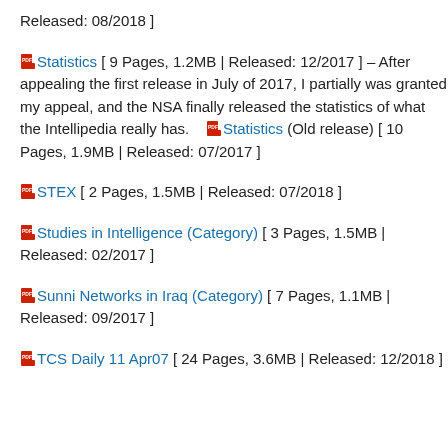Released: 08/2018 ]
Statistics [ 9 Pages, 1.2MB | Released: 12/2017 ] – After appealing the first release in July of 2017, I partially was granted my appeal, and the NSA finally released the statistics of what the Intellipedia really has.    Statistics (Old release) [ 10 Pages, 1.9MB | Released: 07/2017 ]
STEX [ 2 Pages, 1.5MB | Released: 07/2018 ]
Studies in Intelligence (Category) [ 3 Pages, 1.5MB | Released: 02/2017 ]
Sunni Networks in Iraq (Category) [ 7 Pages, 1.1MB | Released: 09/2017 ]
TCS Daily 11 Apr07 [ 24 Pages, 3.6MB | Released: 12/2018 ]